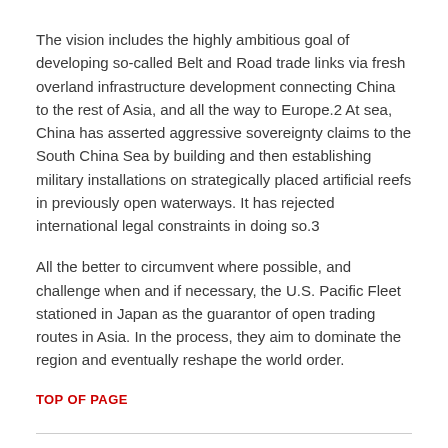The vision includes the highly ambitious goal of developing so-called Belt and Road trade links via fresh overland infrastructure development connecting China to the rest of Asia, and all the way to Europe.2 At sea, China has asserted aggressive sovereignty claims to the South China Sea by building and then establishing military installations on strategically placed artificial reefs in previously open waterways. It has rejected international legal constraints in doing so.3
All the better to circumvent where possible, and challenge when and if necessary, the U.S. Pacific Fleet stationed in Japan as the guarantor of open trading routes in Asia. In the process, they aim to dominate the region and eventually reshape the world order.
TOP OF PAGE
The Canada-China baseline